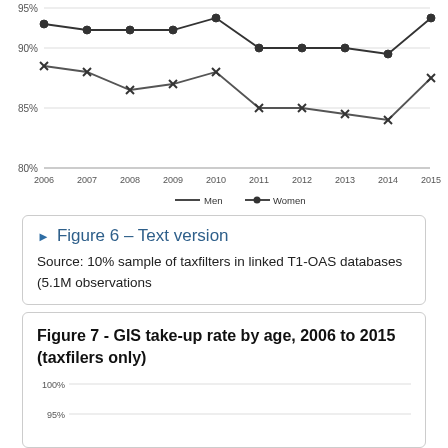[Figure (line-chart): GIS take-up rate by sex (partial, top of chart)]
▶ Figure 6 – Text version
Source: 10% sample of taxfilters in linked T1-OAS databases (5.1M observations
Figure 7 - GIS take-up rate by age, 2006 to 2015 (taxfilers only)
[Figure (line-chart): Partial view of line chart showing GIS take-up rate by age from 2006 to 2015 for taxfilers only. Y-axis shows 95% and 100% gridlines visible.]